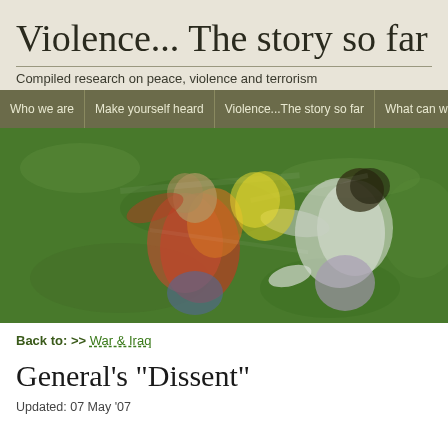Violence... The story so far
Compiled research on peace, violence and terrorism
Who we are | Make yourself heard | Violence...The story so far | What can w
[Figure (photo): Blurred motion photograph of children fighting or playing roughly on green grass, taken from above. One child wears red and orange, another wears white and light purple.]
Back to: >> War & Iraq
General's "Dissent"
Updated: 07 May '07